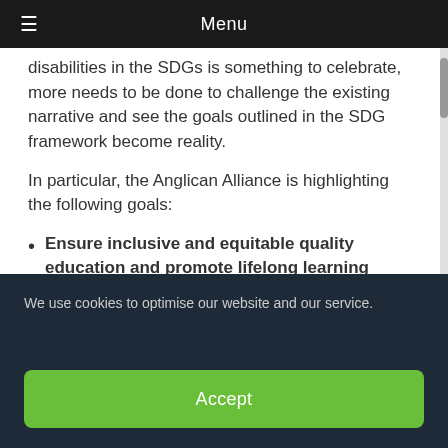Menu
disabilities in the SDGs is something to celebrate, more needs to be done to challenge the existing narrative and see the goals outlined in the SDG framework become reality.
In particular, the Anglican Alliance is highlighting the following goals:
Ensure inclusive and equitable quality education and promote lifelong learning opportunities for all: “Build and upgrade education facilities that are
We use cookies to optimise our website and our service.
Accept